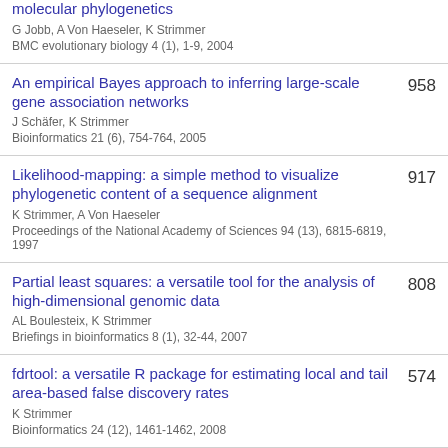molecular phylogenetics
G Jobb, A Von Haeseler, K Strimmer
BMC evolutionary biology 4 (1), 1-9, 2004
An empirical Bayes approach to inferring large-scale gene association networks
J Schäfer, K Strimmer
Bioinformatics 21 (6), 754-764, 2005
958
Likelihood-mapping: a simple method to visualize phylogenetic content of a sequence alignment
K Strimmer, A Von Haeseler
Proceedings of the National Academy of Sciences 94 (13), 6815-6819, 1997
917
Partial least squares: a versatile tool for the analysis of high-dimensional genomic data
AL Boulesteix, K Strimmer
Briefings in bioinformatics 8 (1), 32-44, 2007
808
fdrtool: a versatile R package for estimating local and tail area-based false discovery rates
K Strimmer
Bioinformatics 24 (12), 1461-1462, 2008
574